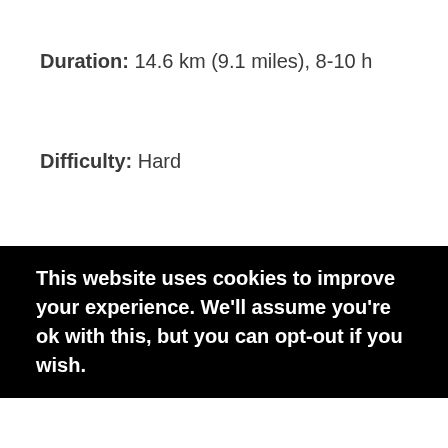Duration: 14.6 km (9.1 miles), 8-10 h
Difficulty: Hard
Type: Return
This website uses cookies to improve your experience. We'll assume you're ok with this, but you can opt-out if you wish.